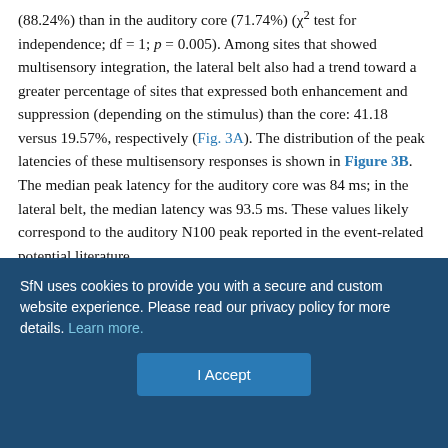(88.24%) than in the auditory core (71.74%) (χ² test for independence; df = 1; p = 0.005). Among sites that showed multisensory integration, the lateral belt also had a trend toward a greater percentage of sites that expressed both enhancement and suppression (depending on the stimulus) than the core: 41.18 versus 19.57%, respectively (Fig. 3A). The distribution of the peak latencies of these multisensory responses is shown in Figure 3B. The median peak latency for the auditory core was 84 ms; in the lateral belt, the median latency was 93.5 ms. These values likely correspond to the auditory N100 peak reported in the event-related potential literature.
Grunts versus coos: enhancement and suppression
Across both areas (i.e., all sites that showed some form of